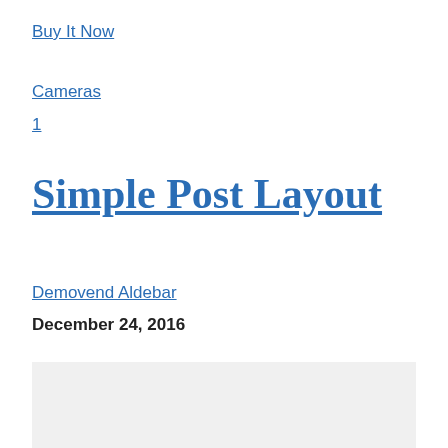Buy It Now
Cameras
1
Simple Post Layout
Demovend Aldebar
December 24, 2016
[Figure (photo): Light gray rectangular image placeholder]